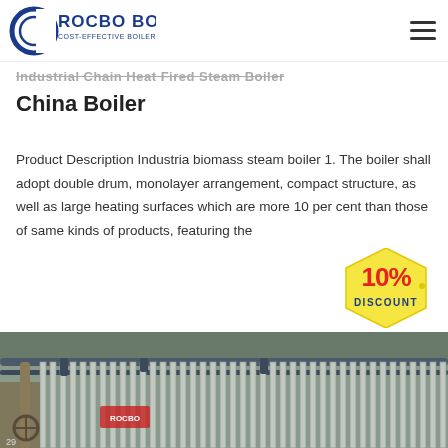ROCBO BOILER — COST-EFFECTIVE BOILER SUPPLIER
Industrial Chain Heat Fired Steam Boiler China Boiler
Product Description Industria biomass steam boiler 1. The boiler shall adopt double drum, monolayer arrangement, compact structure, as well as large heating surfaces which are more 10 per cent than those of same kinds of products, featuring the
[Figure (other): 10% DISCOUNT badge graphic]
[Figure (photo): Industrial boiler with corrugated metal panels in a factory setting]